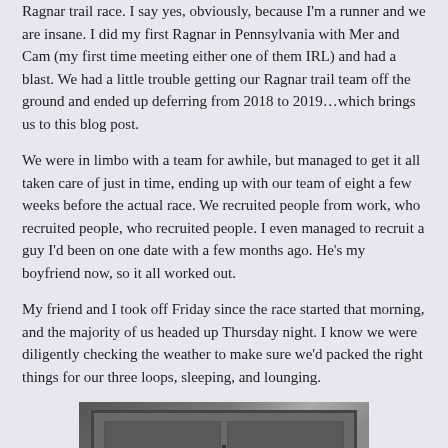Ragnar trail race. I say yes, obviously, because I'm a runner and we are insane. I did my first Ragnar in Pennsylvania with Mer and Cam (my first time meeting either one of them IRL) and had a blast. We had a little trouble getting our Ragnar trail team off the ground and ended up deferring from 2018 to 2019…which brings us to this blog post.
We were in limbo with a team for awhile, but managed to get it all taken care of just in time, ending up with our team of eight a few weeks before the actual race. We recruited people from work, who recruited people, who recruited people. I even managed to recruit a guy I'd been on one date with a few months ago. He's my boyfriend now, so it all worked out.
My friend and I took off Friday since the race started that morning, and the majority of us headed up Thursday night. I know we were diligently checking the weather to make sure we'd packed the right things for our three loops, sleeping, and lounging.
[Figure (photo): A photo showing what appears to be the back of a car or trunk area, with a dark door/hatch panel visible.]